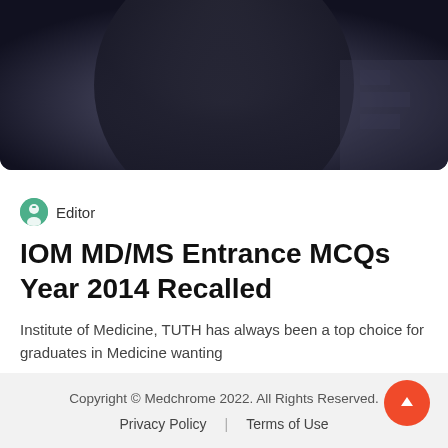[Figure (photo): Partial photo of a person wearing dark academic graduation attire, cropped to show upper torso and background]
Editor
IOM MD/MS Entrance MCQs Year 2014 Recalled
Institute of Medicine, TUTH has always been a top choice for graduates in Medicine wanting
Colleges • June 29 • 1 min read
Copyright © Medchrome 2022. All Rights Reserved.
Privacy Policy | Terms of Use